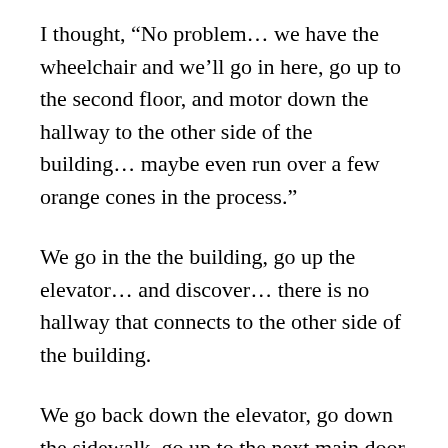I thought, “No problem… we have the wheelchair and we’ll go in here, go up to the second floor, and motor down the hallway to the other side of the building… maybe even run over a few orange cones in the process.”
We go in the the building, go up the elevator… and discover… there is no hallway that connects to the other side of the building.
We go back down the elevator, go down the sidewalk, go up to the next main door and discover that once again, there is no interior hallway that connects to the other